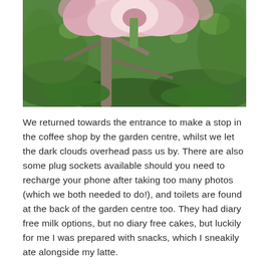[Figure (photo): Close-up photograph of a large pink flower (likely a magnolia) with green stems and branches visible against a background of green foliage.]
We returned towards the entrance to make a stop in the coffee shop by the garden centre, whilst we let the dark clouds overhead pass us by. There are also some plug sockets available should you need to recharge your phone after taking too many photos (which we both needed to do!), and toilets are found at the back of the garden centre too. They had diary free milk options, but no diary free cakes, but luckily for me I was prepared with snacks, which I sneakily ate alongside my latte.